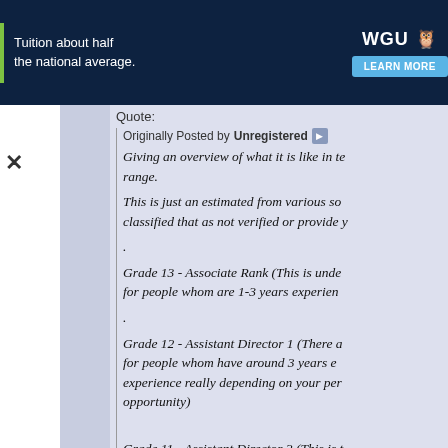[Figure (other): WGU advertisement banner with text 'Tuition about half the national average.' and a 'LEARN MORE' button on dark navy background]
Quote:
Originally Posted by Unregistered
Giving an overview of what it is like in te range. This is just an estimated from various so classified that as not verified or provide y
. Grade 13 - Associate Rank (This is unde for people whom are 1-3 years experien
. Grade 12 - Assistant Director 1 (There a for people whom have around 3 years e experience really depending on your per opportunity)
Grade 11 - Assistant Director 2 (This is t Director rank, but on the outside its just a whom have 5years of experience onwar bound as some people might be stuck h some back office staff can stuck this ran